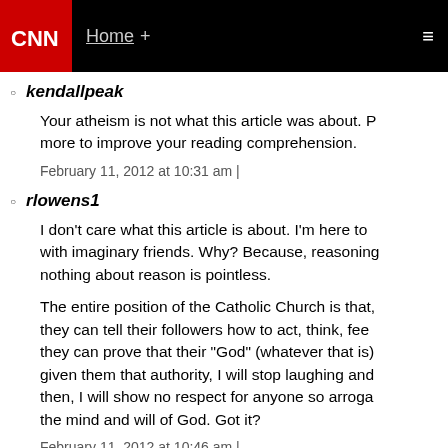CNN | Home +
kendallpeak
Your atheism is not what this article was about. P more to improve your reading comprehension.
February 11, 2012 at 10:31 am |
rlowens1
I don't care what this article is about. I'm here to with imaginary friends. Why? Because, reasoning nothing about reason is pointless.
The entire position of the Catholic Church is that, they can tell their followers how to act, think, fee they can prove that their "God" (whatever that is) given them that authority, I will stop laughing and then, I will show no respect for anyone so arroga the mind and will of God. Got it?
February 11, 2012 at 10:46 am |